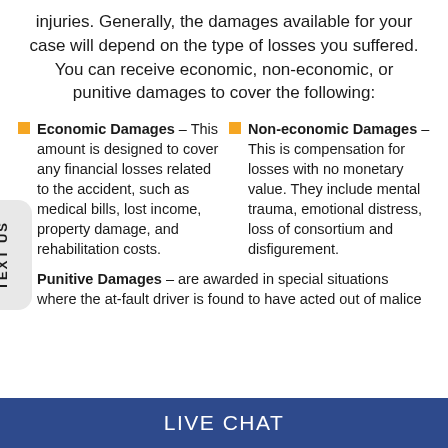injuries. Generally, the damages available for your case will depend on the type of losses you suffered. You can receive economic, non-economic, or punitive damages to cover the following:
Economic Damages – This amount is designed to cover any financial losses related to the accident, such as medical bills, lost income, property damage, and rehabilitation costs.
Non-economic Damages – This is compensation for losses with no monetary value. They include mental trauma, emotional distress, loss of consortium and disfigurement.
Punitive Damages – are awarded in special situations where the at-fault driver is found to have acted out of malice
LIVE CHAT